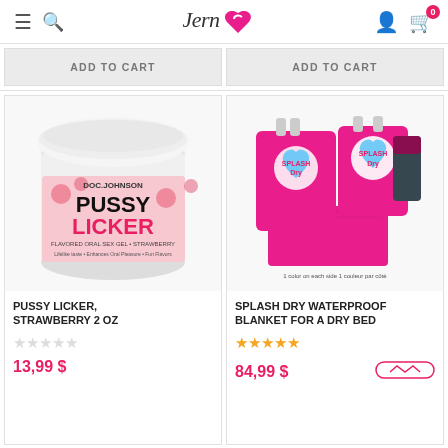Jernea - store header with logo, search, account, cart
ADD TO CART
ADD TO CART
[Figure (photo): Doc Johnson Pussy Licker Flavored Oral Sex Gel Strawberry product jar - white round jar with pink decorative label]
PUSSY LICKER, STRAWBERRY 2 OZ
★★★★★ (empty stars)
13,99 $
[Figure (photo): Splash Dry Waterproof Blanket for a Dry Bed product - pink blanket with packaging bag, 1 color on each side / 1 couleur par côté]
SPLASH DRY WATERPROOF BLANKET FOR A DRY BED
★★★★★ (full stars)
84,99 $